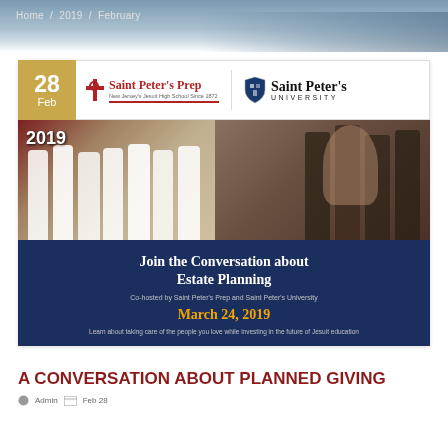Home / 2019 / February
[Figure (illustration): Event flyer for Saint Peter's Prep and Saint Peter's University joint Estate Planning event. Shows date badge '28 Feb', logos for both institutions, graduation/student photos, and event details. Main title: 'Join the Conversation about Estate Planning', co-hosted by Saint Peter's Prep and Saint Peter's University, March 24, 2019. Tagline: 'Learn about taking care of the people you love while investing in the future of Jesuit education']
A CONVERSATION ABOUT PLANNED GIVING